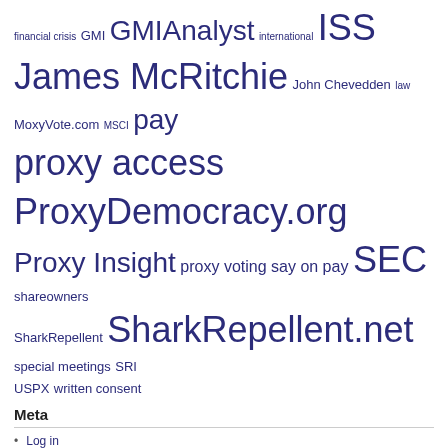financial crisis GMI GMIAnalyst international ISS James McRitchie John Chevedden law MoxyVote.com MSCI pay proxy access ProxyDemocracy.org Proxy Insight proxy voting say on pay SEC shareowners SharkRepellent SharkRepellent.net special meetings SRI USPX written consent
Meta
Log in
Entries feed
Comments feed
WordPress.org
© 2022 Corporate Governance. All Rights Reserved.
Powered by WordPress. Designed by WooThemes